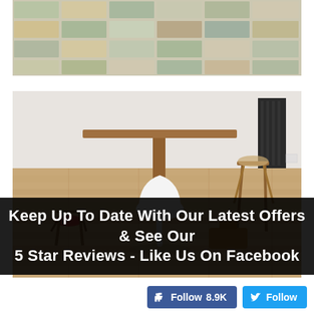[Figure (photo): Top-down view of decorative square floor tiles in muted green, beige, and grey tones arranged in a grid pattern]
[Figure (photo): Interior room scene with light wood-plank flooring, a white tulip chair, wooden dining chairs, a wooden table, and a radiator against a white wall]
Keep Up To Date With Our Latest Offers & See Our 5 Star Reviews - Like Us On Facebook